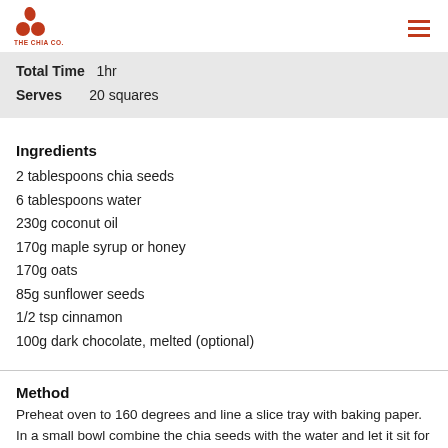THE CHIA CO.
| Total Time | 1hr |
| Serves | 20 squares |
Ingredients
2 tablespoons chia seeds
6 tablespoons water
230g coconut oil
170g maple syrup or honey
170g oats
85g sunflower seeds
1/2 tsp cinnamon
100g dark chocolate, melted (optional)
Method
Preheat oven to 160 degrees and line a slice tray with baking paper. In a small bowl combine the chia seeds with the water and let it sit for 5 minutes until a gel like texture is formed. In a medium size pot melt the coconut oil and maple syrup or